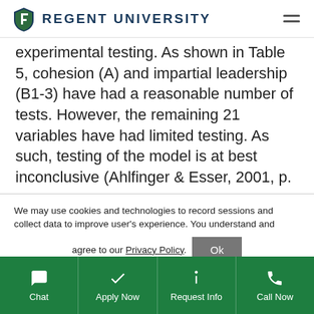Regent University
experimental testing. As shown in Table 5, cohesion (A) and impartial leadership (B1-3) have had a reasonable number of tests. However, the remaining 21 variables have had limited testing. As such, testing of the model is at best inconclusive (Ahlfinger & Esser, 2001, p.
We may use cookies and technologies to record sessions and collect data to improve user's experience. You understand and agree to our Privacy Policy.
Chat | Apply Now | Request Info | Call Now